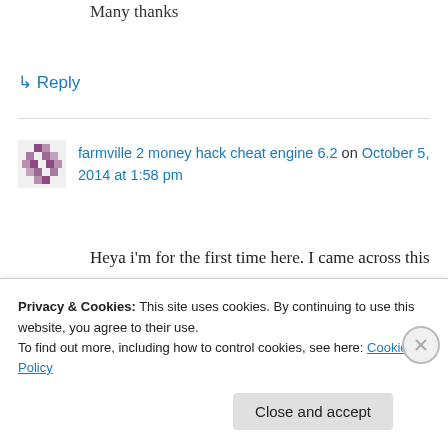Many thanks
↳ Reply
farmville 2 money hack cheat engine 6.2 on October 5, 2014 at 1:58 pm
Heya i'm for the first time here. I came across this board and I find It truly useful & it helped me out much. I hope to give something back and help others
Privacy & Cookies: This site uses cookies. By continuing to use this website, you agree to their use. To find out more, including how to control cookies, see here: Cookie Policy
Close and accept